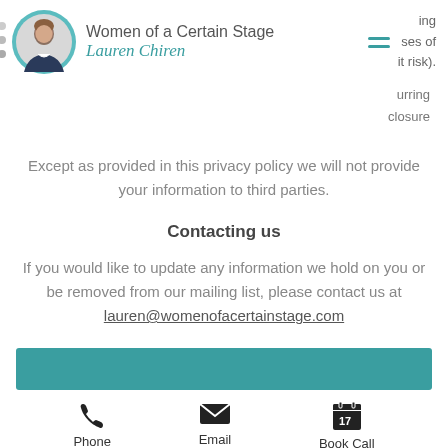Women of a Certain Stage Lauren Chiren
ing ses of it risk).
urring closure
Except as provided in this privacy policy we will not provide your information to third parties.
Contacting us
If you would like to update any information we hold on you or be removed from our mailing list, please contact us at lauren@womenofacertainstage.com
[Figure (other): Teal colored call-to-action bar]
Phone Email Book Call